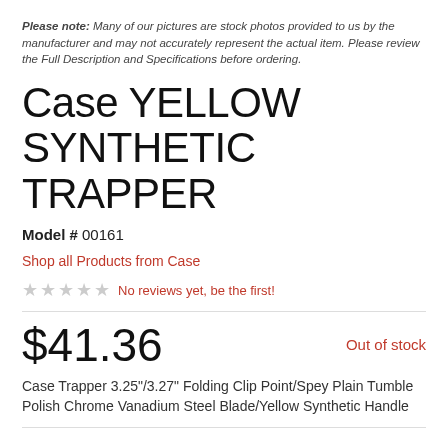Please note: Many of our pictures are stock photos provided to us by the manufacturer and may not accurately represent the actual item. Please review the Full Description and Specifications before ordering.
Case YELLOW SYNTHETIC TRAPPER
Model # 00161
Shop all Products from Case
No reviews yet, be the first!
$41.36
Out of stock
Case Trapper 3.25"/3.27" Folding Clip Point/Spey Plain Tumble Polish Chrome Vanadium Steel Blade/Yellow Synthetic Handle